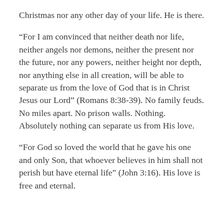Christmas nor any other day of your life. He is there.
“For I am convinced that neither death nor life, neither angels nor demons, neither the present nor the future, nor any powers, neither height nor depth, nor anything else in all creation, will be able to separate us from the love of God that is in Christ Jesus our Lord” (Romans 8:38-39). No family feuds. No miles apart. No prison walls. Nothing. Absolutely nothing can separate us from His love.
“For God so loved the world that he gave his one and only Son, that whoever believes in him shall not perish but have eternal life” (John 3:16). His love is free and eternal.